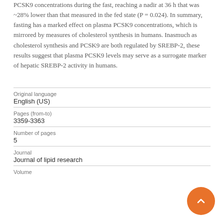PCSK9 concentrations during the fast, reaching a nadir at 36 h that was ~28% lower than that measured in the fed state (P = 0.024). In summary, fasting has a marked effect on plasma PCSK9 concentrations, which is mirrored by measures of cholesterol synthesis in humans. Inasmuch as cholesterol synthesis and PCSK9 are both regulated by SREBP-2, these results suggest that plasma PCSK9 levels may serve as a surrogate marker of hepatic SREBP-2 activity in humans.
| Field | Value |
| --- | --- |
| Original language | English (US) |
| Pages (from-to) | 3359-3363 |
| Number of pages | 5 |
| Journal | Journal of lipid research |
| Volume |  |